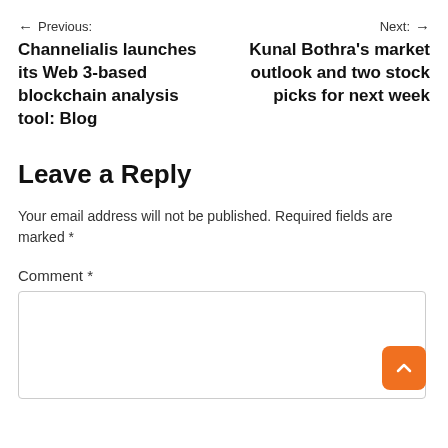← Previous: Channelialis launches its Web 3-based blockchain analysis tool: Blog
Next: → Kunal Bothra's market outlook and two stock picks for next week
Leave a Reply
Your email address will not be published. Required fields are marked *
Comment *